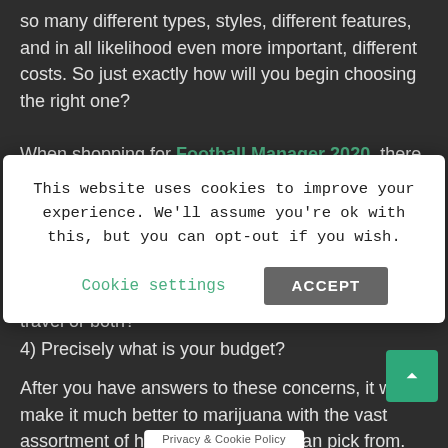so many different types, styles, different features, and in all likelihood even more important, different costs. So just exactly how will you begin choosing the right one?
When shopping for Football Manager 2020, there are lots of things to consider:
1) What kind hair do you possess? Could it be long, brief,
This website uses cookies to improve your experience. We'll assume you're ok with this, but you can opt-out if you wish.
Cookie settings   ACCEPT
travel or both?
4) Precisely what is your budget?
After you have answers to these concerns, it will make it much better to marijuana with the vast assortment of hair dryers that you can pick from. Nevertheless, whether your hair is damaged or not, constantly be certain that the dryer you decide on has ceramic and ionic technology. Why?
Privacy & Cookie Policy